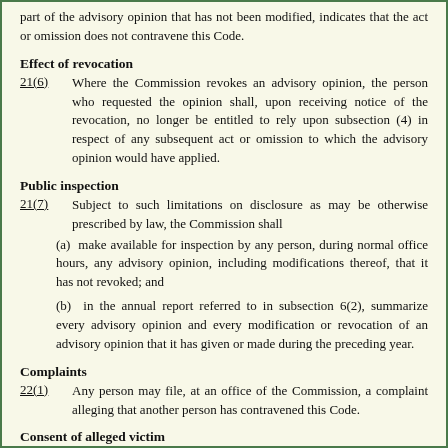part of the advisory opinion that has not been modified, indicates that the act or omission does not contravene this Code.
Effect of revocation
21(6) Where the Commission revokes an advisory opinion, the person who requested the opinion shall, upon receiving notice of the revocation, no longer be entitled to rely upon subsection (4) in respect of any subsequent act or omission to which the advisory opinion would have applied.
Public inspection
21(7) Subject to such limitations on disclosure as may be otherwise prescribed by law, the Commission shall
(a) make available for inspection by any person, during normal office hours, any advisory opinion, including modifications thereof, that it has not revoked; and
(b) in the annual report referred to in subsection 6(2), summarize every advisory opinion and every modification or revocation of an advisory opinion that it has given or made during the preceding year.
Complaints
22(1) Any person may file, at an office of the Commission, a complaint alleging that another person has contravened this Code.
Consent of alleged victim